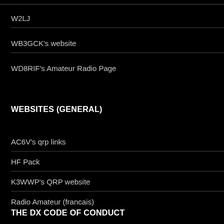W2LJ
WB3GCK's website
WD8RIF's Amateur Radio Page
WEBSITES (GENERAL)
AC6V's qrp links
HF Pack
K3WWP's QRP website
Radio Amateur (francais)
THE DX CODE OF CONDUCT